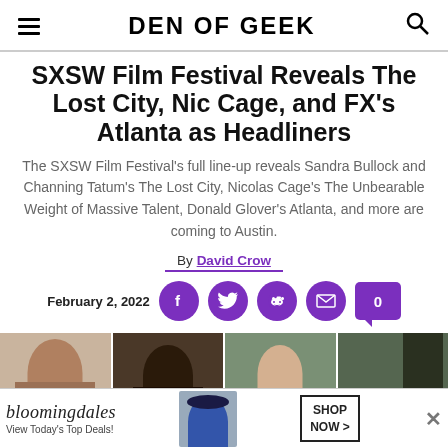DEN OF GEEK
SXSW Film Festival Reveals The Lost City, Nic Cage, and FX's Atlanta as Headliners
The SXSW Film Festival's full line-up reveals Sandra Bullock and Channing Tatum's The Lost City, Nicolas Cage's The Unbearable Weight of Massive Talent, Donald Glover's Atlanta, and more are coming to Austin.
By David Crow
February 2, 2022
[Figure (photo): Photo strip showing four panels with film-related images including faces/portraits against different backgrounds]
[Figure (infographic): Bloomingdale's advertisement banner: 'View Today's Top Deals!' with a woman in a hat image and 'SHOP NOW >' button]